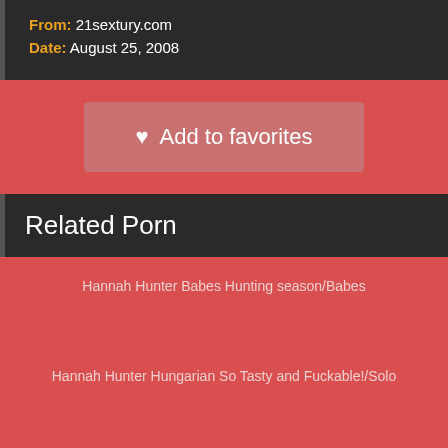From: 21sextury.com
Date: August 25, 2008
♥ Add to favorites
Related Porn
Hannah Hunter Babes Hunting season/Babes
Hannah Hunter Hungarian So Tasty and Fuckable!/Solo
Hannah Hunter Solo Thigh highs/Babes